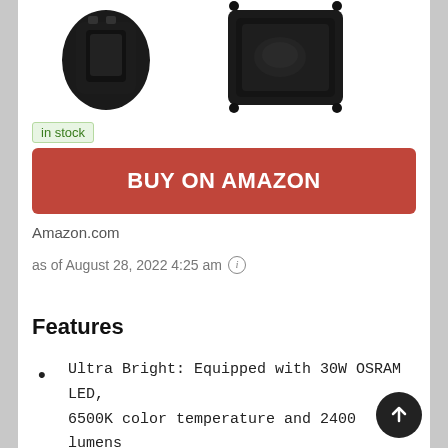[Figure (photo): Product photos of a logo projector light fixture shown from two angles against white background]
in stock
BUY ON AMAZON
Amazon.com
as of August 28, 2022 4:25 am ℹ
Features
Ultra Bright: Equipped with 30W OSRAM LED, 6500K color temperature and 2400 lumens brightness, this logo projector offers bright beam to promote your brand for indoor/outdoor application, perfect for